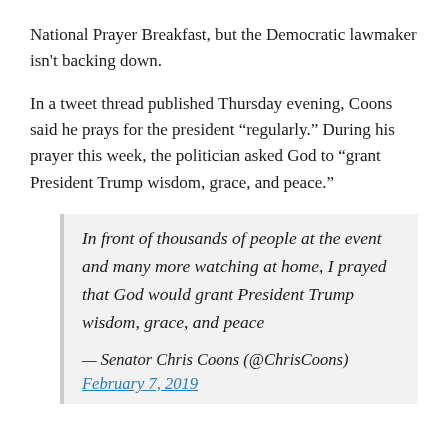National Prayer Breakfast, but the Democratic lawmaker isn't backing down.
In a tweet thread published Thursday evening, Coons said he prays for the president “regularly.” During his prayer this week, the politician asked God to “grant President Trump wisdom, grace, and peace.”
In front of thousands of people at the event and many more watching at home, I prayed that God would grant President Trump wisdom, grace, and peace
— Senator Chris Coons (@ChrisCoons) February 7, 2019